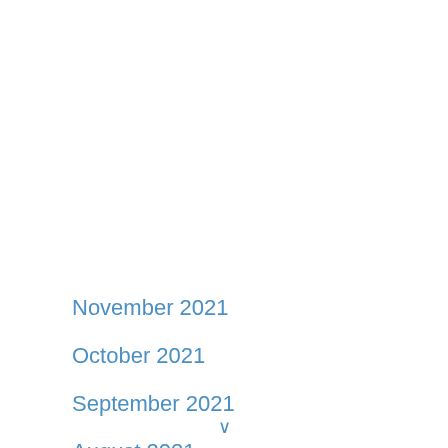November 2021
October 2021
September 2021
August 2021